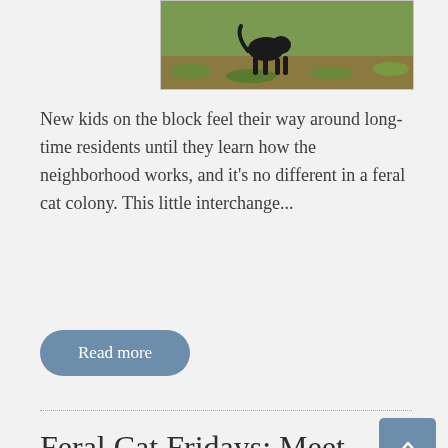[Figure (photo): A black cat walking through grass and dirt outdoors, partially cropped at the top of the page.]
New kids on the block feel their way around long-time residents until they learn how the neighborhood works, and it's no different in a feral cat colony. This little interchange...
Read more
Feral Cat Fridays: Meet Meester Streak